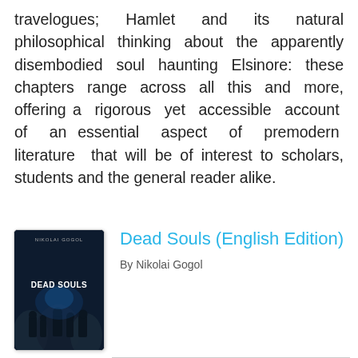travelogues; Hamlet and its natural philosophical thinking about the apparently disembodied soul haunting Elsinore: these chapters range across all this and more, offering a rigorous yet accessible account of an essential aspect of premodern literature that will be of interest to scholars, students and the general reader alike.
[Figure (illustration): Book cover for Dead Souls (English Edition) — dark blue background with silhouettes of people, text DEAD SOULS at center]
Dead Souls (English Edition)
By Nikolai Gogol
[Figure (other): Green READ PDF button]
File : Pdf, ePub, Mobi, Kindle